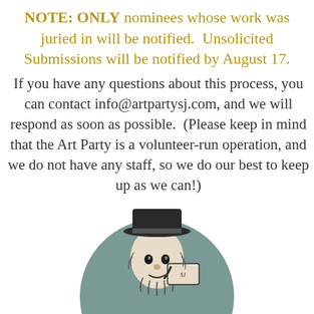NOTE: ONLY nominees whose work was juried in will be notified.  Unsolicited Submissions will be notified by August 17.
If you have any questions about this process, you can contact info@artpartysj.com, and we will respond as soon as possible.  (Please keep in mind that the Art Party is a volunteer-run operation, and we do not have any staff, so we do our best to keep up as we can!)
[Figure (illustration): Circular logo with a muted teal/grey background featuring a black-and-white engraving-style illustration of a figure (Mad Hatter-like character) holding a sign. The circle is partially cropped at the bottom of the page.]